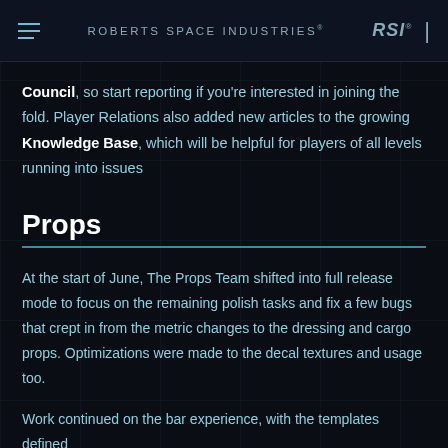ROBERTS SPACE INDUSTRIES®  RSI®
Council, so start reporting if you're interested in joining the fold. Player Relations also added new articles to the growing Knowledge Base, which will be helpful for players of all levels running into issues
Props
At the start of June, The Props Team shifted into full release mode to focus on the remaining polish tasks and fix a few bugs that crept in from the metric changes to the dressing and cargo props. Optimizations were made to the decal textures and usage too.
Work continued on the bar experience, with the templates defined